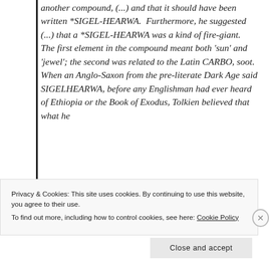was a mistake. He thought the name was another compound, (...) and that it should have been written *SIGEL-HEARWA. Furthermore, he suggested (...) that a *SIGEL-HEARWA was a kind of fire-giant. The first element in the compound meant both 'sun' and 'jewel'; the second was related to the Latin CARBO, soot. When an Anglo-Saxon from the pre-literate Dark Age said SIGELHEARWA, before any Englishman had ever heard of Ethiopia or the Book of Exodus, Tolkien believed that what he
Privacy & Cookies: This site uses cookies. By continuing to use this website, you agree to their use.
To find out more, including how to control cookies, see here: Cookie Policy